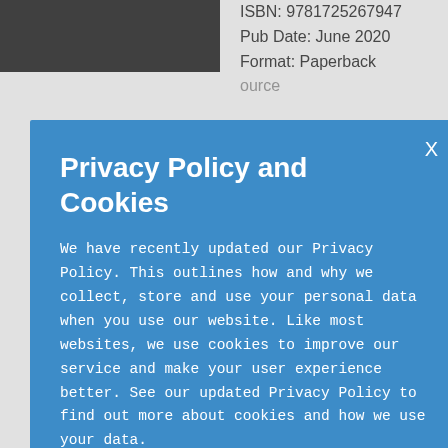[Figure (photo): Book cover image, dark/black background, top-left area]
ISBN: 9781725267947
Pub Date: June 2020
Format: Paperback
ource
1992. A ted Rabbi rdered in ue located suburb on Deborah he first ecome f the She is...
Privacy Policy and Cookies
We have recently updated our Privacy Policy. This outlines how and why we collect, store and use your personal data when you use our website. Like most websites, we use cookies to improve our service and make your user experience better. See our updated Privacy Policy to find out more about cookies and how we use your data.
OKAY, THANKS
Krimon J. Konion